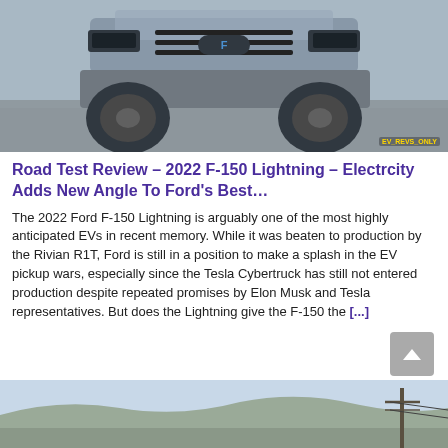[Figure (photo): Front view of a 2022 Ford F-150 Lightning pickup truck, silver/blue color, photographed from slightly above. Watermark reads 'EV_REVS_ONLY' in yellow text at bottom right.]
Road Test Review – 2022 F-150 Lightning – Electrcity Adds New Angle To Ford's Best…
The 2022 Ford F-150 Lightning is arguably one of the most highly anticipated EVs in recent memory. While it was beaten to production by the Rivian R1T, Ford is still in a position to make a splash in the EV pickup wars, especially since the Tesla Cybertruck has still not entered production despite repeated promises by Elon Musk and Tesla representatives. But does the Lightning give the F-150 the [...]
[Figure (photo): Landscape photo showing desert terrain with hills in background and utility poles, partially visible at bottom of page.]